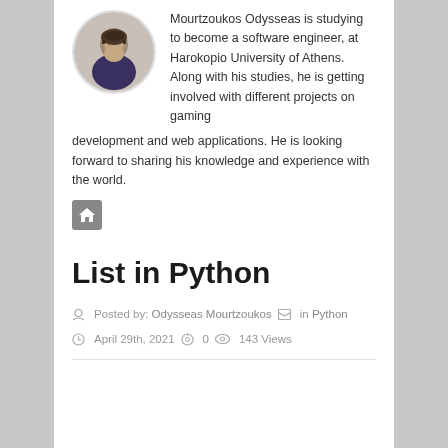[Figure (photo): Circular avatar photo of Mourtzoukos Odysseas, a young man]
Mourtzoukos Odysseas is studying to become a software engineer, at Harokopio University of Athens. Along with his studies, he is getting involved with different projects on gaming development and web applications. He is looking forward to sharing his knowledge and experience with the world.
[Figure (illustration): Small grey home/house icon button]
List in Python
Posted by: Odysseas Mourtzoukos  in Python  April 29th, 2021  0  143 Views